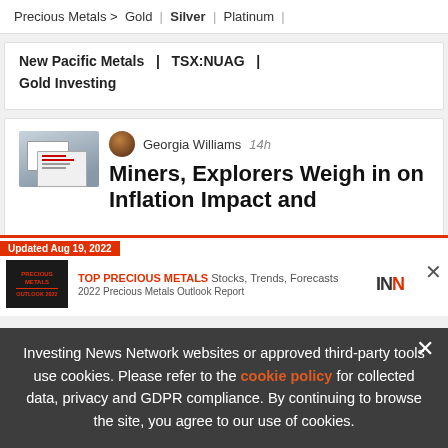Precious Metals > Gold | Silver | Platinum |
New Pacific Metals | TSX:NUAG |
Gold Investing
Georgia Williams   14h
Miners, Explorers Weigh in on Inflation Impact and
[Figure (screenshot): Advertisement banner: Updated Aug 19, 2022. TOP PRECIOUS METALS Stocks, Trends, Forecasts. 2022 Precious Metals Outlook Report. INN logo.]
Investing News Network websites or approved third-party tools use cookies. Please refer to the cookie policy for collected data, privacy and GDPR compliance. By continuing to browse the site, you agree to our use of cookies.